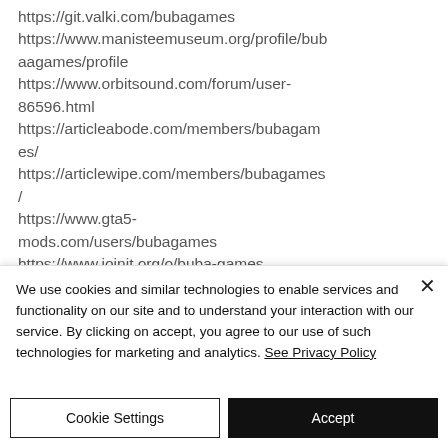https://git.valki.com/bubagames
https://www.manisteemuseum.org/profile/bubaagames/profile
https://www.orbitsound.com/forum/user-86596.html
https://articleabode.com/members/bubagames/
https://articlewipe.com/members/bubagames/
https://www.gta5-mods.com/users/bubagames
https://www.joinit.org/o/buba-games
We use cookies and similar technologies to enable services and functionality on our site and to understand your interaction with our service. By clicking on accept, you agree to our use of such technologies for marketing and analytics. See Privacy Policy
Cookie Settings
Accept